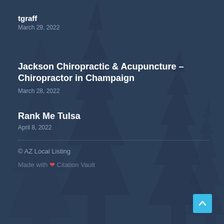tgraff
March 29, 2022
Jackson Chiropractic & Acupuncture – Chiropractor in Champaign
March 28, 2022
Rank Me Tulsa
April 8, 2022
© AZ Local Listing
Made with ❤ Citation Vault